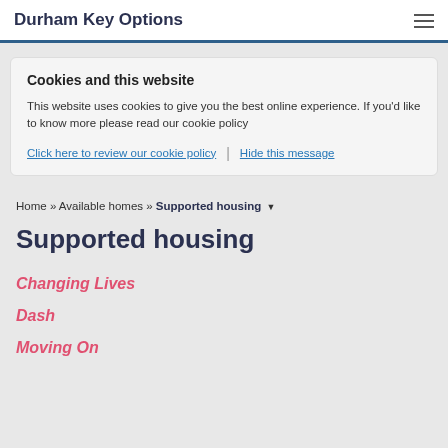Durham Key Options
Cookies and this website
This website uses cookies to give you the best online experience. If you'd like to know more please read our cookie policy
Click here to review our cookie policy | Hide this message
Home » Available homes » Supported housing ▼
Supported housing
Changing Lives
Dash
Moving On